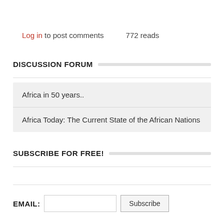Log in to post comments   772 reads
DISCUSSION FORUM
Africa in 50 years..
Africa Today: The Current State of the African Nations
SUBSCRIBE FOR FREE!
EMAIL:  [input]  Subscribe